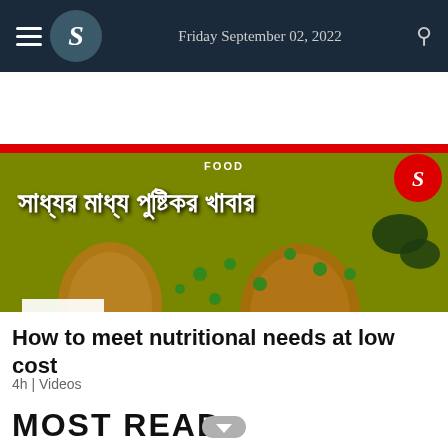Friday September 02, 2022
[Figure (screenshot): Food video thumbnail showing Bengali text (সাধ্যর মাধ্য পুষ্টিকর খাবার) over a rice dish with eggs, vegetables. Red borders top and bottom, FOOD label, brand logo circle, play button in lower left.]
How to meet nutritional needs at low cost
4h | Videos
MOST READ